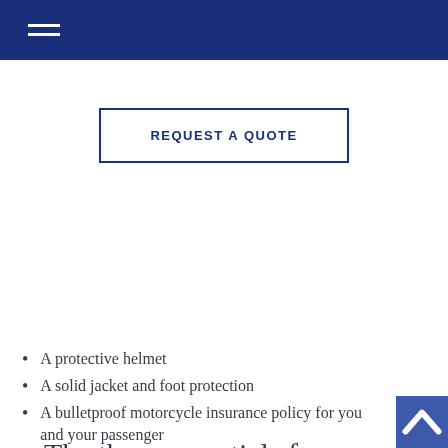REQUEST A QUOTE
The three essentials for feeling truly free on a ride:
A protective helmet
A solid jacket and foot protection
A bulletproof motorcycle insurance policy for you and your passenger